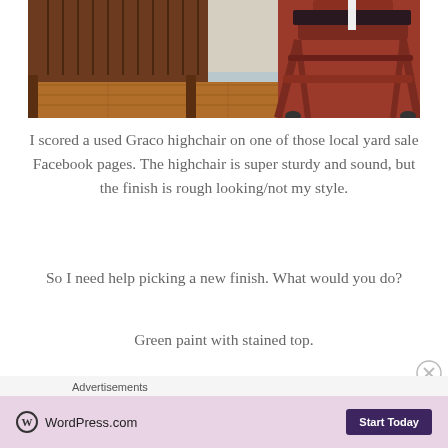[Figure (photo): Photo of a wooden high chair next to a wood-paneled cabinet/crib on a hardwood floor, against a light wall with white baseboard.]
I scored a used Graco highchair on one of those local yard sale Facebook pages. The highchair is super sturdy and sound, but the finish is rough looking/not my style.
So I need help picking a new finish. What would you do?
Green paint with stained top.
Advertisements
[Figure (screenshot): WordPress.com advertisement banner with logo and Start Today button on a light pink/lavender background.]